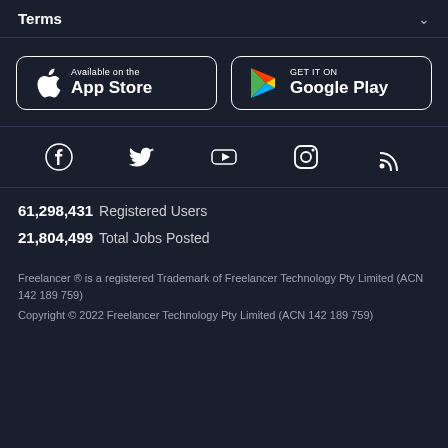Terms
[Figure (other): App Store and Google Play download buttons]
[Figure (other): Social media icons: Facebook, Twitter, YouTube, Instagram, RSS]
61,298,431  Registered Users
21,804,499  Total Jobs Posted
Freelancer ® is a registered Trademark of Freelancer Technology Pty Limited (ACN 142 189 759)
Copyright © 2022 Freelancer Technology Pty Limited (ACN 142 189 759)